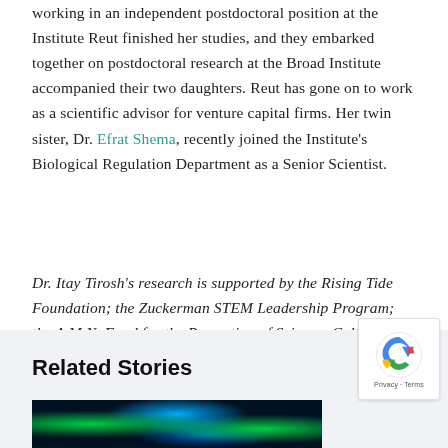working in an independent postdoctoral position at the Institute Reut finished her studies, and they embarked together on postdoctoral research at the Broad Institute accompanied their two daughters. Reut has gone on to work as a scientific advisor for venture capital firms. Her twin sister, Dr. Efrat Shema, recently joined the Institute's Biological Regulation Department as a Senior Scientist.
Dr. Itay Tirosh's research is supported by the Rising Tide Foundation; the Zuckerman STEM Leadership Program; the A.M.N. Fund for the Promotion of Science, Culture and Arts in Israel; Annette Kaufman; and the estate of Dr. David Levinson.
Related Stories
[Figure (photo): Microscopy image showing cells with green and blue fluorescent staining against a dark background]